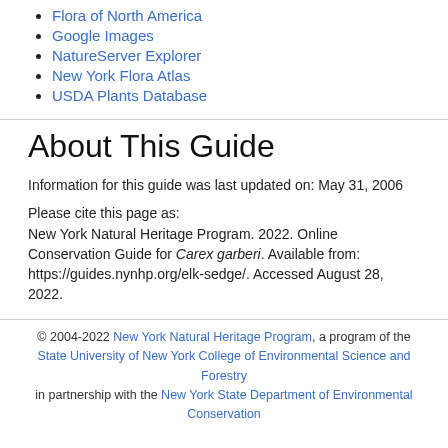Flora of North America
Google Images
NatureServer Explorer
New York Flora Atlas
USDA Plants Database
About This Guide
Information for this guide was last updated on: May 31, 2006
Please cite this page as:
New York Natural Heritage Program. 2022. Online Conservation Guide for Carex garberi. Available from: https://guides.nynhp.org/elk-sedge/. Accessed August 28, 2022.
© 2004-2022 New York Natural Heritage Program, a program of the State University of New York College of Environmental Science and Forestry in partnership with the New York State Department of Environmental Conservation